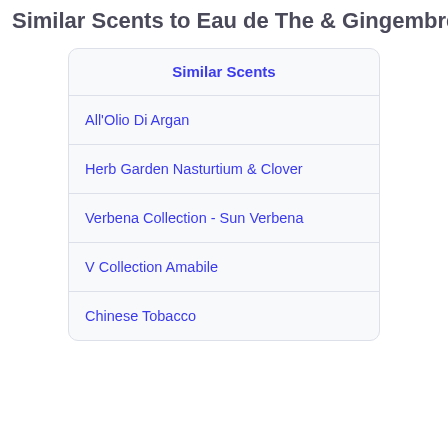Similar Scents to Eau de The & Gingembre
| Similar Scents |
| --- |
| All'Olio Di Argan |
| Herb Garden Nasturtium & Clover |
| Verbena Collection - Sun Verbena |
| V Collection Amabile |
| Chinese Tobacco |